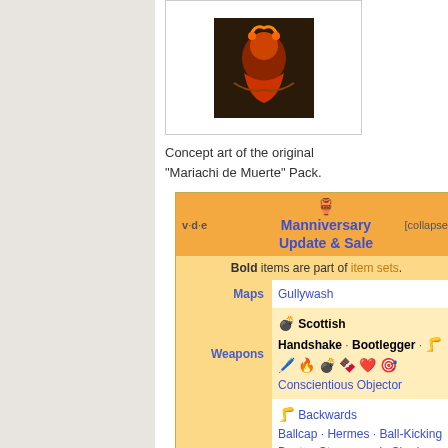[Figure (photo): Concept art image showing the original Mariachi de Muerte Pack - dark background with orange/red floral and figure elements]
Concept art of the original "Mariachi de Muerte" Pack.
| v·d·e | Manniversary Update & Sale | [collapse] |
| --- | --- | --- |
|  | Bold items are part of item sets. |  |
| Maps | Gullywash |  |
| Weapons | 🎯 Scottish Handshake · Bootlegger · 🦵 🖊️ 🔥 💣 🍫 ➕ 🎯 Conscientious Objector |  |
|  | 🦵 Backwards Ballcap · Hermes · Ball-Kicking Boots · Stereoscopic Shades · 🔥 Birdcage · Little Buddy · Cremator's Conscience · Flamboyant Flamenco · 💣 Tavish DeGroot Experience · Buccaneer's |  |